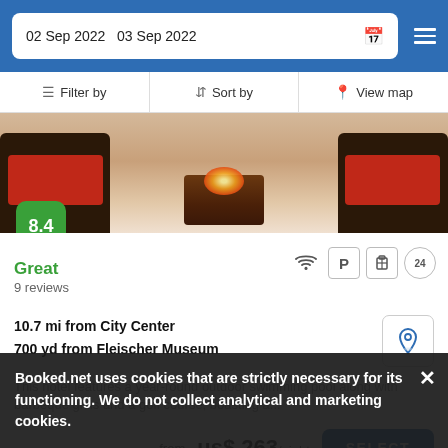02 Sep 2022   03 Sep 2022
Filter by   Sort by   View map
[Figure (photo): Hotel outdoor seating area with fire pit and red cushioned chairs]
8.4
Great
9 reviews
10.7 mi from City Center
700 yd from Fleischer Museum
This hotel features a year-round outdoor swimming pool along with barbeque grills and a golf course, boasting a...
from us$ 263/night
SELECT
Hampton Inn & Suites Scottsdale Riverwalk
Booked.net uses cookies that are strictly necessary for its functioning. We do not collect analytical and marketing cookies.